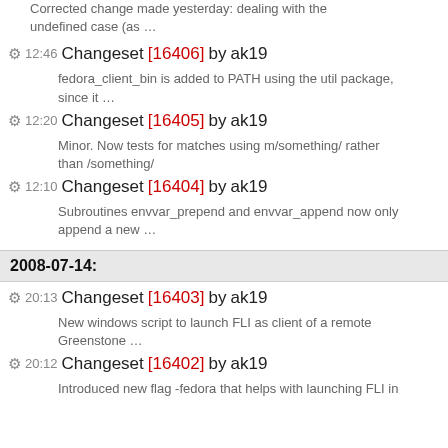Corrected change made yesterday: dealing with the undefined case (as …
12:46 Changeset [16406] by ak19 — fedora_client_bin is added to PATH using the util package, since it …
12:20 Changeset [16405] by ak19 — Minor. Now tests for matches using m/something/ rather than /something/
12:10 Changeset [16404] by ak19 — Subroutines envvar_prepend and envvar_append now only append a new …
2008-07-14:
20:13 Changeset [16403] by ak19 — New windows script to launch FLI as client of a remote Greenstone …
20:12 Changeset [16402] by ak19 — Introduced new flag -fedora that helps with launching FLI in